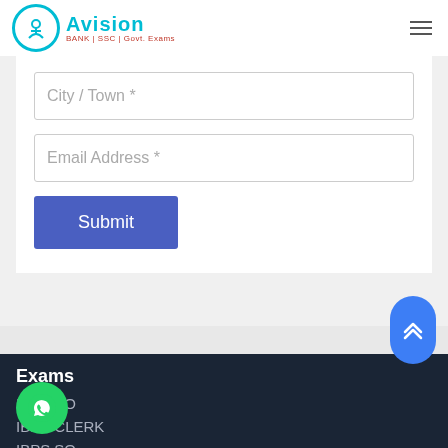[Figure (logo): Avision logo with circular icon and text 'AVISION BANK | SSC | Govt. Exams']
City / Town *
Email Address *
Submit
[Figure (other): Blue scroll-to-top button with double chevron up arrow]
Exams
[Figure (other): Green WhatsApp floating button]
IBPS PO
IBPS CLERK
IBPS SO